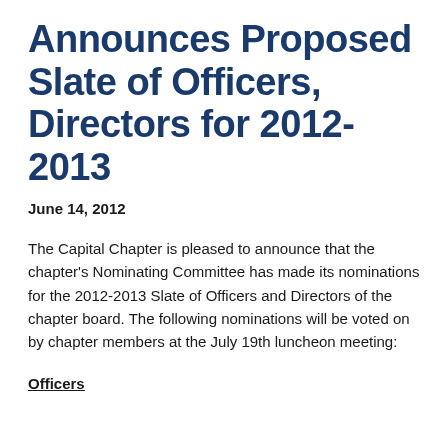Announces Proposed Slate of Officers, Directors for 2012-2013
June 14, 2012
The Capital Chapter is pleased to announce that the chapter's Nominating Committee has made its nominations for the 2012-2013 Slate of Officers and Directors of the chapter board. The following nominations will be voted on by chapter members at the July 19th luncheon meeting:
Officers